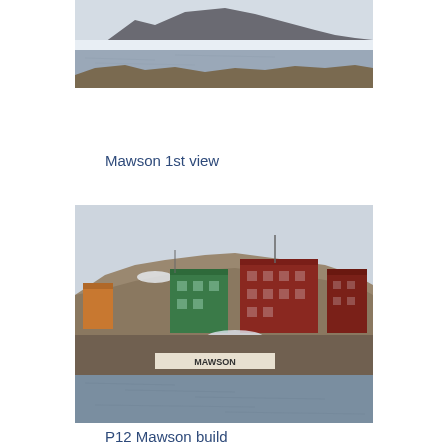[Figure (photo): A wide panoramic landscape photo showing a distant rocky island or mountain range with snow/ice, seen across a grey sea under an overcast sky.]
Mawson 1st view
[Figure (photo): A photo of Mawson Antarctic research station showing colourful buildings (green, red, orange) on a rocky snow-covered hillside, with water in the foreground and a 'MAWSON' sign visible.]
P12 Mawson build